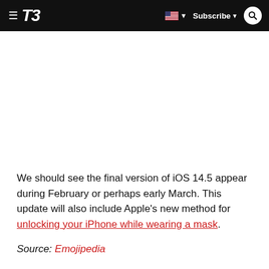T3  [flag] ▼  Subscribe ▼  [search]
We should see the final version of iOS 14.5 appear during February or perhaps early March. This update will also include Apple's new method for unlocking your iPhone while wearing a mask.
Source: Emojipedia